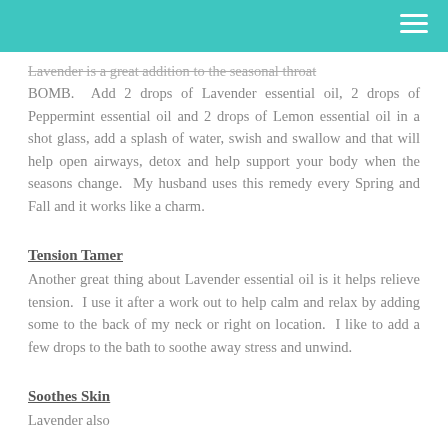Lavender is a great addition to the seasonal throat BOMB.  Add 2 drops of Lavender essential oil, 2 drops of Peppermint essential oil and 2 drops of Lemon essential oil in a shot glass, add a splash of water, swish and swallow and that will help open airways, detox and help support your body when the seasons change.  My husband uses this remedy every Spring and Fall and it works like a charm.
Tension Tamer
Another great thing about Lavender essential oil is it helps relieve tension.  I use it after a work out to help calm and relax by adding some to the back of my neck or right on location.  I like to add a few drops to the bath to soothe away stress and unwind.
Soothes Skin
Lavender also...